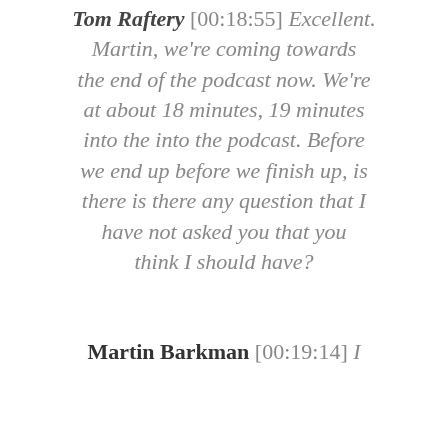Tom Raftery [00:18:55] Excellent. Martin, we're coming towards the end of the podcast now. We're at about 18 minutes, 19 minutes into the into the podcast. Before we end up before we finish up, is there is there any question that I have not asked you that you think I should have?
Martin Barkman [00:19:14] I